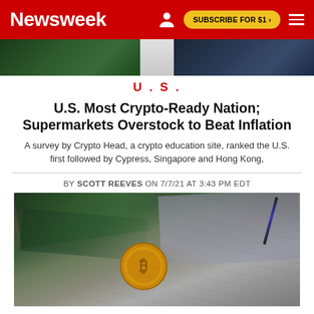Newsweek | SUBSCRIBE FOR $1 >
[Figure (photo): Top image strip showing partial article images - dark green and dark blue tones]
U.S.
U.S. Most Crypto-Ready Nation; Supermarkets Overstock to Beat Inflation
A survey by Crypto Head, a crypto education site, ranked the U.S. first followed by Cypress, Singapore and Hong Kong,
BY SCOTT REEVES ON 7/7/21 AT 3:43 PM EDT
[Figure (photo): Photo of US dollar bills and a Bitcoin coin scattered on a surface]